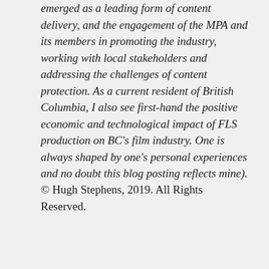emerged as a leading form of content delivery, and the engagement of the MPA and its members in promoting the industry, working with local stakeholders and addressing the challenges of content protection. As a current resident of British Columbia, I also see first-hand the positive economic and technological impact of FLS production on BC's film industry. One is always shaped by one's personal experiences and no doubt this blog posting reflects mine).
© Hugh Stephens, 2019. All Rights Reserved.